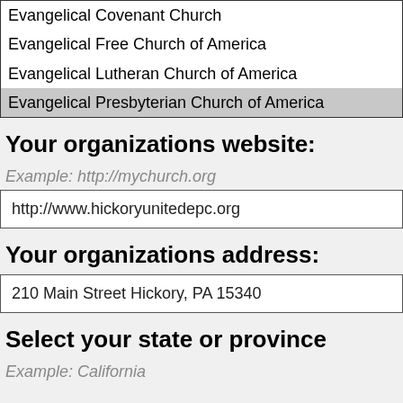| Evangelical Covenant Church |
| Evangelical Free Church of America |
| Evangelical Lutheran Church of America |
| Evangelical Presbyterian Church of America |
Your organizations website:
Example: http://mychurch.org
http://www.hickoryunitedepc.org
Your organizations address:
210 Main Street Hickory, PA 15340
Select your state or province
Example: California